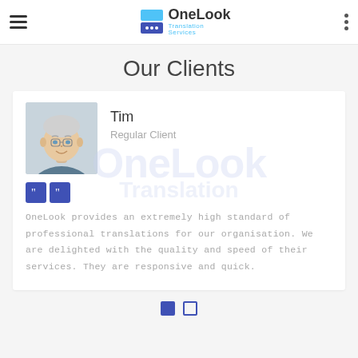[Figure (logo): OneLook Translation Services logo with hamburger menu and three-dot menu]
Our Clients
[Figure (photo): Testimonial card with photo of Tim, a smiling older man with white hair and glasses, Regular Client. Quote marks icon. Text: OneLook provides an extremely high standard of professional translations for our organisation. We are delighted with the quality and speed of their services. They are responsive and quick. OneLook watermark in background.]
OneLook provides an extremely high standard of professional translations for our organisation. We are delighted with the quality and speed of their services. They are responsive and quick.